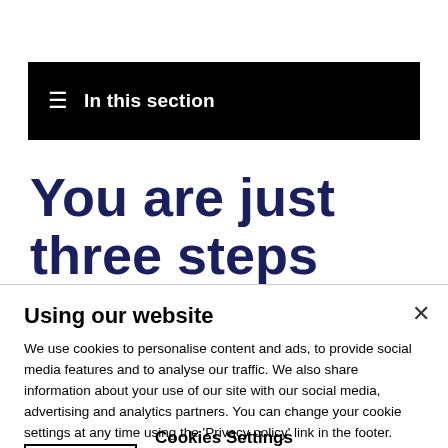≡  In this section
You are just three steps away from starting medi
Using our website
We use cookies to personalise content and ads, to provide social media features and to analyse our traffic. We also share information about your use of our site with our social media, advertising and analytics partners. You can change your cookie settings at any time using the 'Privacy policy' link in the footer. Cookies policy
Cookies Settings